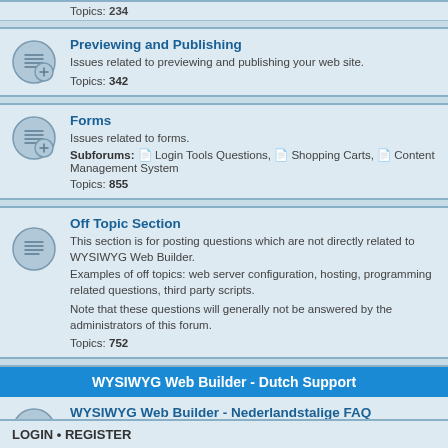Topics: 234
Previewing and Publishing
Issues related to previewing and publishing your web site. Topics: 342
Forms
Issues related to forms. Subforums: Login Tools Questions, Shopping Carts, Content Management System. Topics: 855
Off Topic Section
This section is for posting questions which are not directly related to WYSIWYG Web Builder. Examples of off topics: web server configuration, hosting, programming related questions, third party scripts. Note that these questions will generally not be answered by the administrators of this forum. Topics: 752
WYSIWYG Web Builder - Dutch Support
WYSIWYG Web Builder - Nederlandstalige FAQ
Veel gestelde vragen (en antwoorden) over WYSIWYG Web Builder. Topics: 30
WYSIWYG Web Builder - Nederlandstalige versie
Dit forum is bedoeld voor vragen met betrekking tot WYSIWYG Web Builder. Topics: 515
LOGIN • REGISTER